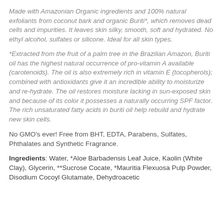Made with Amazonian Organic ingredients and 100% natural exfoliants from coconut bark and organic Buriti*, which removes dead cells and impurities. It leaves skin silky, smooth, soft and hydrated. No ethyl alcohol, sulfates or silicone. Ideal for all skin types.
*Extracted from the fruit of a palm tree in the Brazilian Amazon, Buriti oil has the highest natural occurrence of pro-vitamin A available (carotenoids). The oil is also extremely rich in vitamin E (tocopherols); combined with antioxidants give it an incredible ability to moisturize and re-hydrate. The oil restores moisture lacking in sun-exposed skin and because of its color it possesses a naturally occurring SPF factor. The rich unsaturated fatty acids in buriti oil help rebuild and hydrate new skin cells.
No GMO's ever! Free from BHT, EDTA, Parabens, Sulfates, Phthalates and Synthetic Fragrance.
Ingredients: Water, *Aloe Barbadensis Leaf Juice, Kaolin (White Clay), Glycerin, **Sucrose Cocate, *Mauritia Flexuosa Pulp Powder, Disodium Cocoyl Glutamate, Dehydroacetic